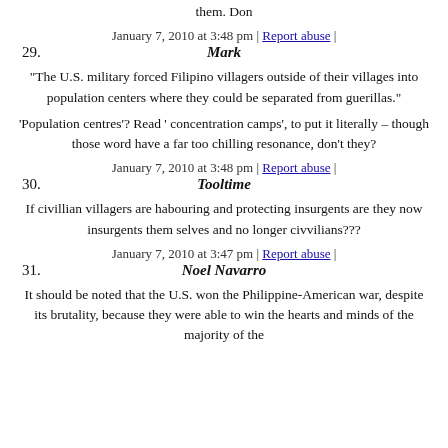them. Don
January 7, 2010 at 3:48 pm | Report abuse |
29. Mark
"The U.S. military forced Filipino villagers outside of their villages into population centers where they could be separated from guerillas."
'Population centres'? Read ' concentration camps', to put it literally – though those word have a far too chilling resonance, don't they?
January 7, 2010 at 3:48 pm | Report abuse |
30. Tooltime
If civillian villagers are habouring and protecting insurgents are they now insurgents them selves and no longer civvilians???
January 7, 2010 at 3:47 pm | Report abuse |
31. Noel Navarro
It should be noted that the U.S. won the Philippine-American war, despite its brutality, because they were able to win the hearts and minds of the majority of the